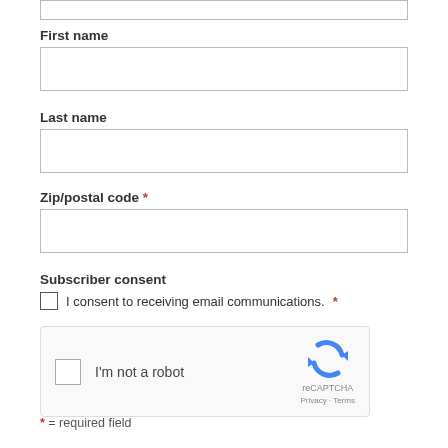First name
[Figure (other): Empty text input box for First name]
Last name
[Figure (other): Empty text input box for Last name]
Zip/postal code *
[Figure (other): Empty text input box for Zip/postal code]
Subscriber consent
I consent to receiving email communications. *
[Figure (other): reCAPTCHA widget with checkbox and I'm not a robot text]
* = required field